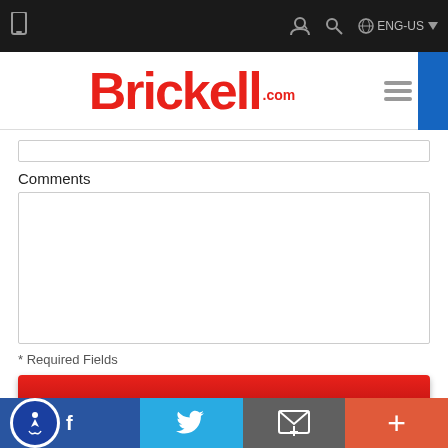[Figure (screenshot): Dark top navigation bar with phone icon on left and user/search/language icons on right showing ENG-US]
[Figure (logo): Brickell.com logo in red with hamburger menu icon]
Comments
* Required Fields
SUBMIT
[Figure (infographic): Footer bar with accessibility icon, Twitter bird, email icon, and plus icon on colored section backgrounds]